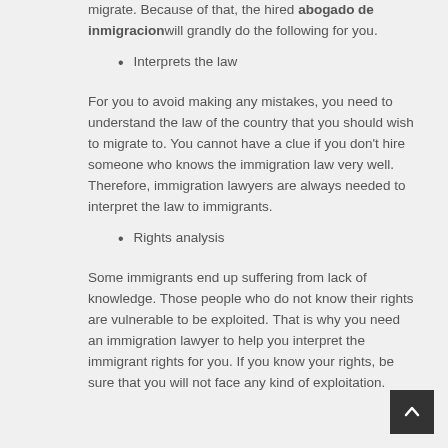migrate. Because of that, the hired abogado de inmigracionwill grandly do the following for you.
Interprets the law
For you to avoid making any mistakes, you need to understand the law of the country that you should wish to migrate to. You cannot have a clue if you don't hire someone who knows the immigration law very well. Therefore, immigration lawyers are always needed to interpret the law to immigrants.
Rights analysis
Some immigrants end up suffering from lack of knowledge. Those people who do not know their rights are vulnerable to be exploited. That is why you need an immigration lawyer to help you interpret the immigrant rights for you. If you know your rights, be sure that you will not face any kind of exploitation.